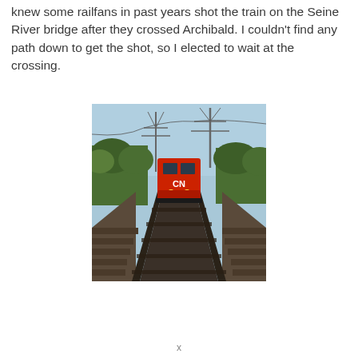knew some railfans in past years shot the train on the Seine River bridge after they crossed Archibald. I couldn't find any path down to get the shot, so I elected to wait at the crossing.
[Figure (photo): A red CN (Canadian National) locomotive approaching head-on on railway tracks, crossing a wooden bridge or trestle. Trees and large electrical transmission towers are visible in the background under a blue sky.]
x